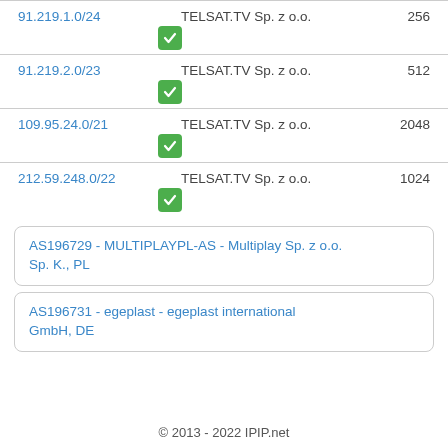91.219.1.0/24 TELSAT.TV Sp. z o.o. 256
91.219.2.0/23 TELSAT.TV Sp. z o.o. 512
109.95.24.0/21 TELSAT.TV Sp. z o.o. 2048
212.59.248.0/22 TELSAT.TV Sp. z o.o. 1024
AS196729 - MULTIPLAYPL-AS - Multiplay Sp. z o.o. Sp. K., PL
AS196731 - egeplast - egeplast international GmbH, DE
© 2013 - 2022 IPIP.net